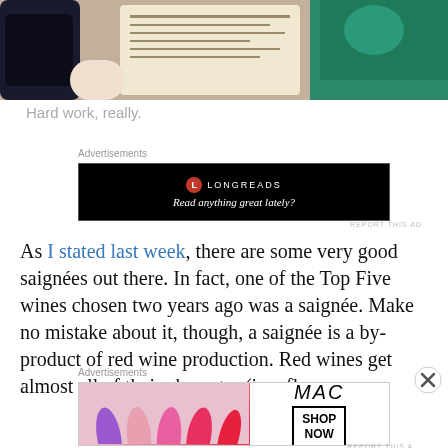[Figure (photo): Photo of a person writing in a notebook near a dark cup and a white plate on a table.]
Hard work, really.
Advertisements
[Figure (screenshot): Longreads advertisement banner with logo and tagline 'Read anything great lately?']
REPORT THIS AD
As I stated last week, there are some very good saignées out there. In fact, one of the Top Five wines chosen two years ago was a saignée. Make no mistake about it, though, a saignée is a by-product of red wine production. Red wines get almost all of their character (i.e., flavors,
Advertisements
[Figure (photo): MAC cosmetics advertisement showing colorful lipsticks and 'SHOP NOW' call to action.]